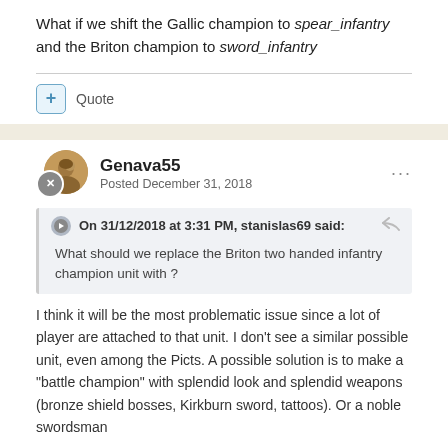What if we shift the Gallic champion to spear_infantry and the Briton champion to sword_infantry
Quote
Genava55
Posted December 31, 2018
On 31/12/2018 at 3:31 PM, stanislas69 said:
What should we replace the Briton two handed infantry champion unit with ?
I think it will be the most problematic issue since a lot of player are attached to that unit. I don't see a similar possible unit, even among the Picts. A possible solution is to make a "battle champion" with splendid look and splendid weapons (bronze shield bosses, Kirkburn sword, tattoos). Or a noble swordsman